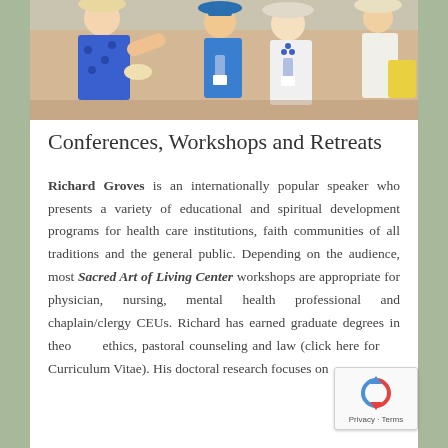[Figure (photo): Group of people wearing hats outdoors at what appears to be a social gathering or conference event]
Conferences, Workshops and Retreats
Richard Groves is an internationally popular speaker who presents a variety of educational and spiritual development programs for health care institutions, faith communities of all traditions and the general public. Depending on the audience, most Sacred Art of Living Center workshops are appropriate for physician, nursing, mental health professional and chaplain/clergy CEUs. Richard has earned graduate degrees in theology, ethics, pastoral counseling and law (click here for Curriculum Vitae). His doctoral research focuses on